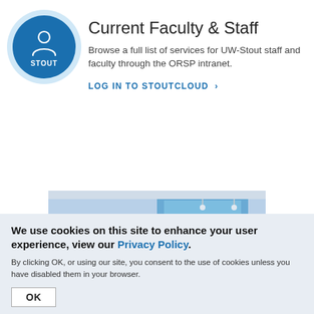[Figure (illustration): Blue circle icon with a white person/user silhouette and 'STOUT' label text below the figure, representing UW-Stout faculty/staff]
Current Faculty & Staff
Browse a full list of services for UW-Stout staff and faculty through the ORSP intranet.
LOG IN TO STOUTCLOUD >
[Figure (photo): Partial photo showing the top of a person's head with blonde hair, and a blue screen/display visible in the background]
We use cookies on this site to enhance your user experience, view our Privacy Policy.
By clicking OK, or using our site, you consent to the use of cookies unless you have disabled them in your browser.
OK